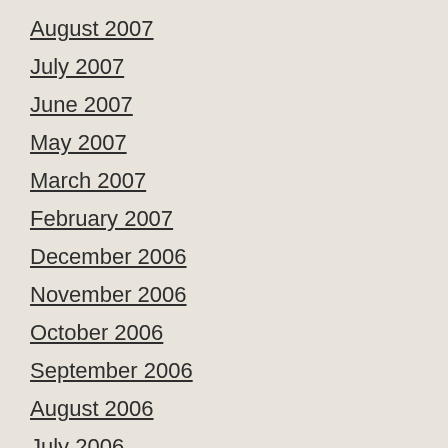August 2007
July 2007
June 2007
May 2007
March 2007
February 2007
December 2006
November 2006
October 2006
September 2006
August 2006
July 2006
May 2006